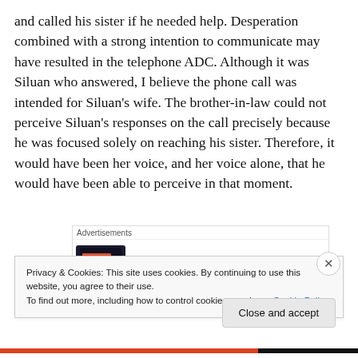and called his sister if he needed help. Desperation combined with a strong intention to communicate may have resulted in the telephone ADC. Although it was Siluan who answered, I believe the phone call was intended for Siluan's wife. The brother-in-law could not perceive Siluan's responses on the call precisely because he was focused solely on reaching his sister. Therefore, it would have been her voice, and her voice alone, that he would have been able to perceive in that moment.
[Figure (screenshot): Pocket Casts advertisement showing a phone image with the text 'Your next favorite podcast is here.' and the Pocket Casts logo]
Privacy & Cookies: This site uses cookies. By continuing to use this website, you agree to their use.
To find out more, including how to control cookies, see here: Cookie Policy
Close and accept